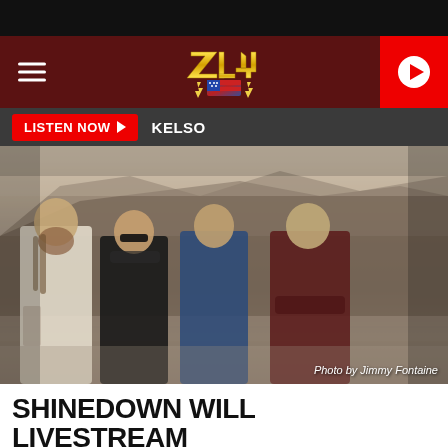ZL4 Radio - Header with hamburger menu, logo, and play button
LISTEN NOW  KELSO
[Figure (photo): Four members of Shinedown band standing outdoors in front of a rocky hillside and body of water. Members wearing white coat, black outfit, blue jumpsuit, and dark red shirt respectively. Photo by Jimmy Fontaine.]
Photo by Jimmy Fontaine
SHINEDOWN WILL LIVESTREAM